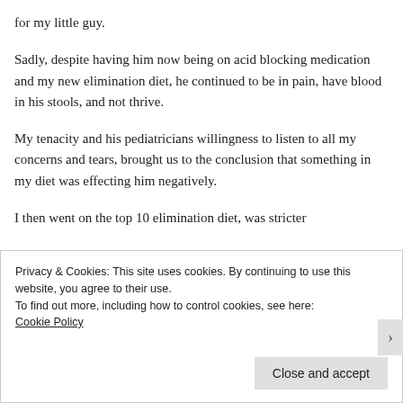for my little guy.
Sadly, despite having him now being on acid blocking medication and my new elimination diet, he continued to be in pain, have blood in his stools, and not thrive.
My tenacity and his pediatricians willingness to listen to all my concerns and tears, brought us to the conclusion that something in my diet was effecting him negatively.
I then went on the top 10 elimination diet, was stricter
Privacy & Cookies: This site uses cookies. By continuing to use this website, you agree to their use.
To find out more, including how to control cookies, see here:
Cookie Policy
Close and accept
Follow ...